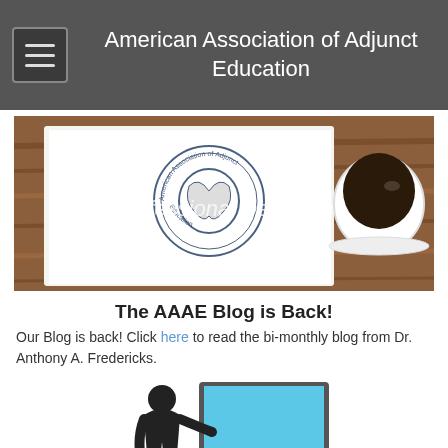American Association of Adjunct Education
[Figure (photo): Banner image showing AAAE logo on paper with coffee cup on wooden table, overlaid with text 'Professional Development']
The AAAE Blog is Back!
Our Blog is back! Click here to read the bi-monthly blog from Dr. Anthony A. Fredericks.
[Figure (illustration): Silhouette of a person presenting at a blue screen/monitor]